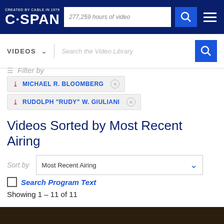CREATED BY CABLE IN 1979 C·SPAN | 277,259 hours of video
VIDEOS
Search the Video Library
Filter by
MICHAEL R. BLOOMBERG ×
RUDOLPH "RUDY" W. GIULIANI ×
Videos Sorted by Most Recent Airing
Sort by  Most Recent Airing
Search Program Text
Showing 1 – 11 of 11
[Figure (photo): Dark brown/earth-toned image strip at the bottom of the page, appears to be a video thumbnail]